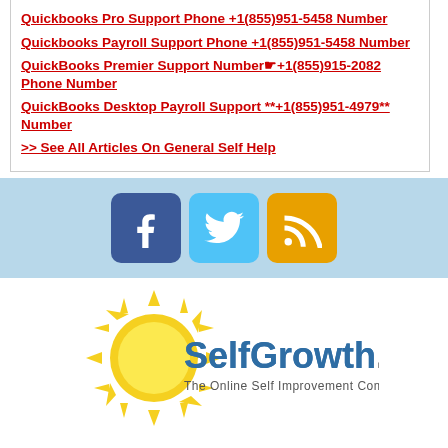Quickbooks Pro Support Phone +1(855)951-5458 Number
Quickbooks Payroll Support Phone +1(855)951-5458 Number
QuickBooks Premier Support Number☛+1(855)915-2082 Phone Number
QuickBooks Desktop Payroll Support **+1(855)951-4979** Number
>> See All Articles On General Self Help
[Figure (logo): Three social media icons: Facebook (blue), Twitter (light blue), RSS (orange)]
[Figure (logo): SelfGrowth.com logo with sun graphic and tagline: The Online Self Improvement Community]